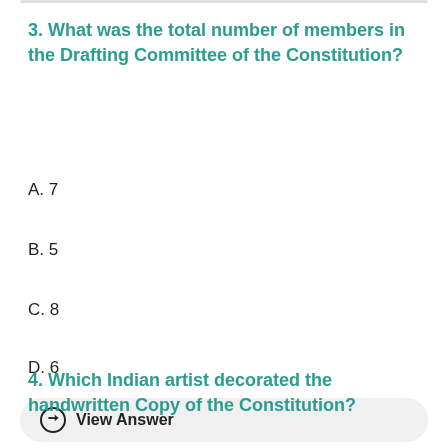3. What was the total number of members in the Drafting Committee of the Constitution?
A. 7
B. 5
C. 8
D. 6
⊙ View Answer
4. Which Indian artist decorated the handwritten Copy of the Constitution?